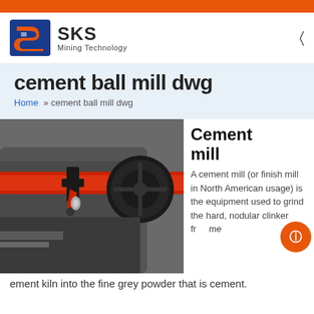[Figure (logo): SKS Mining Technology logo with red and blue geometric icon]
cement ball mill dwg
Home » cement ball mill dwg
[Figure (photo): Close-up photo of cement ball mill mechanical components with red belt/strap and black pulley wheel]
Cement mill
A cement mill (or finish mill in North American usage) is the equipment used to grind the hard, nodular clinker from the cement kiln into the fine grey powder that is cement.